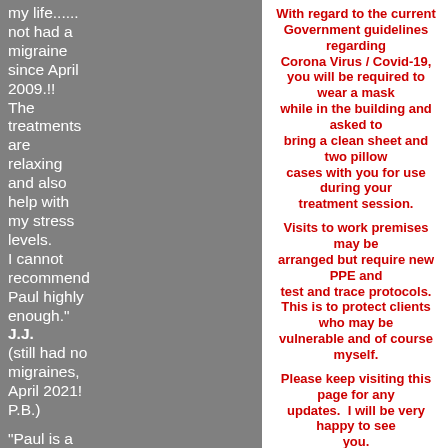my life...... not had a migraine since April 2009.!! The treatments are relaxing and also help with my stress levels. I cannot recommend Paul highly enough." J.J. (still had no migraines, April 2021! P.B.)
With regard to the current Government guidelines regarding Corona Virus / Covid-19, you will be required to wear a mask while in the building and asked to bring a clean sheet and two pillow cases with you for use during your treatment session.

Visits to work premises may be arranged but require new PPE and test and trace protocols. This is to protect clients who may be vulnerable and of course myself.

Please keep visiting this page for any updates. I will be very happy to see you. Meanwhile keep well. Thank you all.
Paul

To make an appointment or simply to
"Paul is a genius! low back pain immobilised me, I had